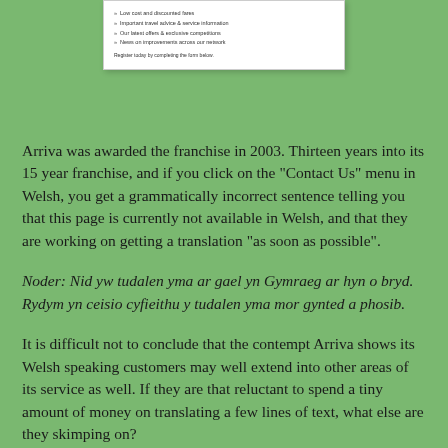[Figure (screenshot): Screenshot of a webpage showing bullet points about low cost and discounted fares, important travel advice and service information, latest offers and exclusive competitions, news on improvements across the network, and a prompt to register by completing the form below.]
Arriva was awarded the franchise in 2003. Thirteen years into its 15 year franchise, and if you click on the "Contact Us" menu in Welsh, you get a grammatically incorrect sentence telling you that this page is currently not available in Welsh, and that they are working on getting a translation "as soon as possible".
Noder: Nid yw tudalen yma ar gael yn Gymraeg ar hyn o bryd. Rydym yn ceisio cyfieithu y tudalen yma mor gynted a phosib.
It is difficult not to conclude that the contempt Arriva shows its Welsh speaking customers may well extend into other areas of its service as well. If they are that reluctant to spend a tiny amount of money on translating a few lines of text, what else are they skimping on?
There have been plenty of complaints over the years, but despite being in receipt of huge amounts of public money, Arriva has been